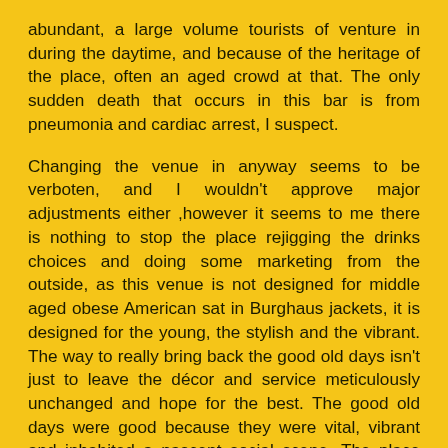abundant, a large volume tourists of venture in during the daytime, and because of the heritage of the place, often an aged crowd at that. The only sudden death that occurs in this bar is from pneumonia and cardiac arrest, I suspect.
Changing the venue in anyway seems to be verboten, and I wouldn't approve major adjustments either ,however it seems to me there is nothing to stop the place rejigging the drinks choices and doing some marketing from the outside, as this venue is not designed for middle aged obese American sat in Burghaus jackets, it is designed for the young, the stylish and the vibrant. The way to really bring back the good old days isn't just to leave the décor and service meticulously unchanged and hope for the best. The good old days were good because they were vital, vibrant and inhabited a nascent social scene. The place could do more in that regard by hosting more events, perhaps some understated live music, and so on.